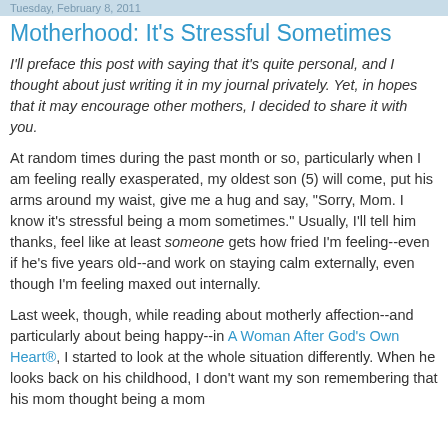Tuesday, February 8, 2011
Motherhood: It's Stressful Sometimes
I'll preface this post with saying that it's quite personal, and I thought about just writing it in my journal privately. Yet, in hopes that it may encourage other mothers, I decided to share it with you.
At random times during the past month or so, particularly when I am feeling really exasperated, my oldest son (5) will come, put his arms around my waist, give me a hug and say, "Sorry, Mom. I know it's stressful being a mom sometimes." Usually, I'll tell him thanks, feel like at least someone gets how fried I'm feeling--even if he's five years old--and work on staying calm externally, even though I'm feeling maxed out internally.
Last week, though, while reading about motherly affection--and particularly about being happy--in A Woman After God's Own Heart®, I started to look at the whole situation differently. When he looks back on his childhood, I don't want my son remembering that his mom thought being a mom